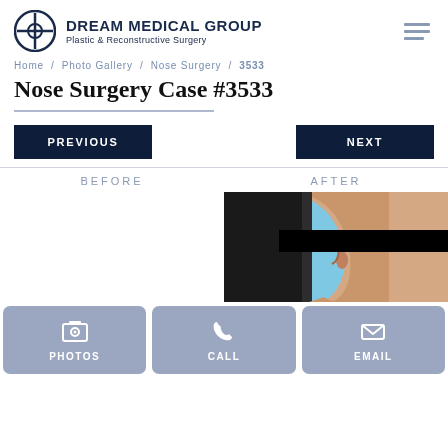DREAM MEDICAL GROUP — Plastic & Reconstructive Surgery
Home / Photo Gallery / Nose Surgery / 3533
Nose Surgery Case #3533
PREVIOUS | NEXT
BEFORE | AFTER
[Figure (photo): Before and after photos for Nose Surgery Case #3533. The 'after' photo shows a side profile of a female patient with dark hair against a light blue background. A black bar covers the eye area for privacy. The 'before' side shows no image.]
PHOTOS | CALL | EMAIL